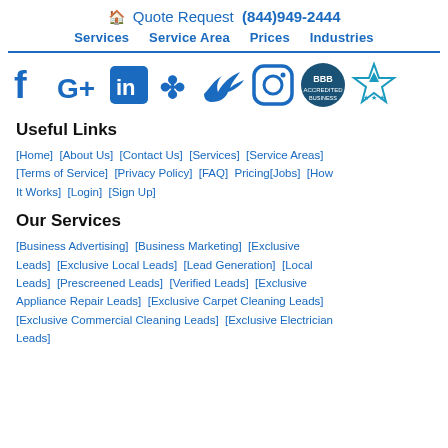🏠 Quote Request (844)949-2444  Services  Service Area  Prices  Industries
[Figure (logo): Row of social media icons: Facebook, Google+, LinkedIn, Yelp, Twitter, Instagram, BBB, and a star/award badge]
Useful Links
[Home] [About Us] [Contact Us] [Services] [Service Areas] [Terms of Service] [Privacy Policy] [FAQ] Pricing[Jobs] [How It Works] [Login] [Sign Up]
Our Services
[Business Advertising] [Business Marketing] [Exclusive Leads] [Exclusive Local Leads] [Lead Generation] [Local Leads] [Prescreened Leads] [Verified Leads] [Exclusive Appliance Repair Leads] [Exclusive Carpet Cleaning Leads] [Exclusive Commercial Cleaning Leads] [Exclusive Electrician Leads]